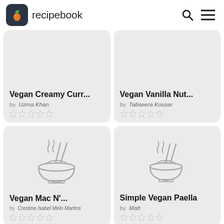recipebook
Vegan Creamy Curr... by Uzma Khan, 0 stars
Vegan Vanilla Nut... by Tabseera Kousar, 0 stars
[Figure (illustration): Bowl of noodles with chopsticks icon, gray outline style]
[Figure (illustration): Bowl of noodles with chopsticks icon, gray outline style]
Vegan Mac N'... by Crestina Isabel Melo Martins, 0 stars
Simple Vegan Paella by Matt, 0 stars